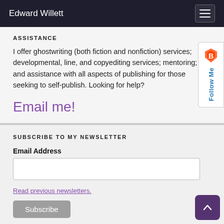Edward Willett
ASSISTANCE
I offer ghostwriting (both fiction and nonfiction) services; developmental, line, and copyediting services; mentoring; and assistance with all aspects of publishing for those seeking to self-publish. Looking for help?
Email me!
SUBSCRIBE TO MY NEWSLETTER
Email Address
Read previous newsletters.
Subscribe